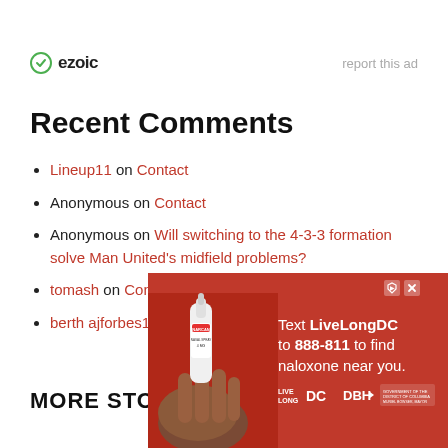[Figure (logo): Ezoic logo with green icon and bold text, and 'report this ad' link to the right]
Recent Comments
Lineup11 on Contact
Anonymous on Contact
Anonymous on Will switching to the 4-3-3 formation solve Man United’s midfield problems?
tomash on Contact
berth ajforbes1 on Contact
MORE STORIES
[Figure (photo): Red advertisement banner: Text LiveLongDC to 888-811 to find naloxone near you. Shows hand holding nasal spray device. Live Long DC, DBH, and DC Government logos at bottom.]